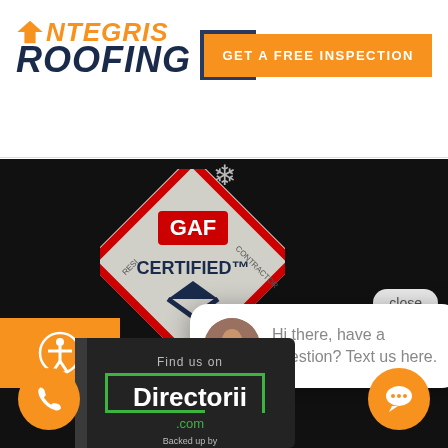[Figure (screenshot): Integris Roofing website header with logo, hamburger menu button, and orange GET A FREE INSPECTION CTA button]
[Figure (logo): Integris Roofing logo with house icon, orange INTEGRIS text and dark navy ROOFING text]
[Figure (screenshot): Website screenshot showing GAF Certified contractor diamond badge, accessibility icon, chat popup with avatar saying Hi there, have a question? Text us here., Directorii.com sign at bottom, orange phone and chat buttons, close button]
GET A FREE INSPECTION
close
Hi there, have a question? Text us here.
Find us on
Directorii.com
Backed up by